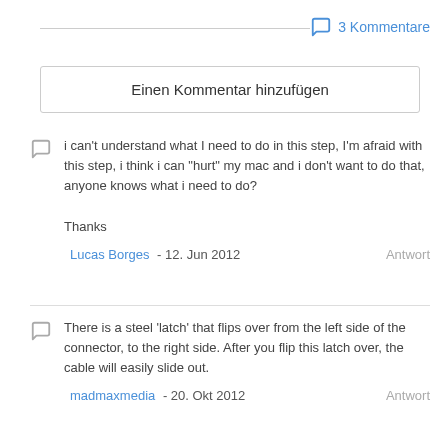3 Kommentare
Einen Kommentar hinzufügen
i can't understand what I need to do in this step, I'm afraid with this step, i think i can "hurt" my mac and i don't want to do that, anyone knows what i need to do?

Thanks
Lucas Borges - 12. Jun 2012    Antwort
There is a steel 'latch' that flips over from the left side of the connector, to the right side. After you flip this latch over, the cable will easily slide out.
madmaxmedia - 20. Okt 2012    Antwort